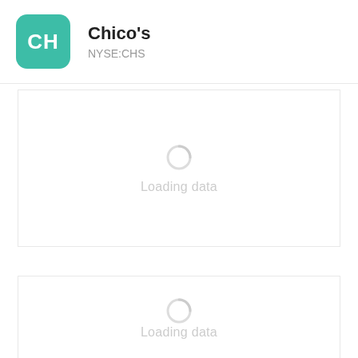[Figure (logo): Chico's company logo: teal rounded square with white 'CH' letters]
Chico's
NYSE:CHS
[Figure (other): Loading data spinner with text 'Loading data' in first chart area]
[Figure (other): Loading data spinner with text 'Loading data' in second chart area]